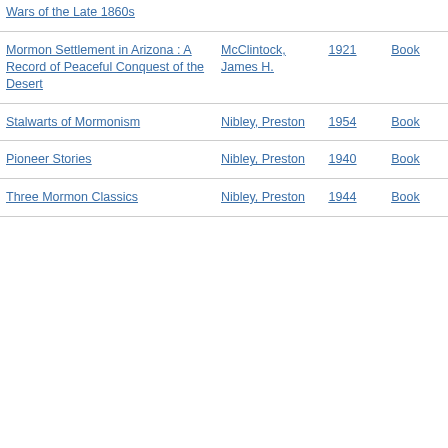| Title | Author | Year | Type |
| --- | --- | --- | --- |
| Wars of the Late 1860s |  |  |  |
| Mormon Settlement in Arizona : A Record of Peaceful Conquest of the Desert | McClintock, James H. | 1921 | Book |
| Stalwarts of Mormonism | Nibley, Preston | 1954 | Book |
| Pioneer Stories | Nibley, Preston | 1940 | Book |
| Three Mormon Classics | Nibley, Preston | 1944 | Book |